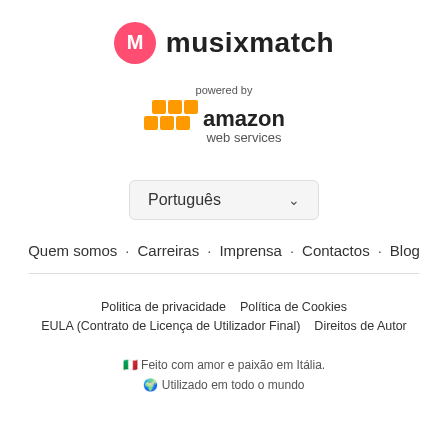[Figure (logo): Musixmatch logo: pink/red circle with white M icon, followed by bold text 'musixmatch']
[Figure (logo): Amazon Web Services logo with 'powered by' text above and orange hexagonal block icons]
Português ∨
Quem somos · Carreiras · Imprensa · Contactos · Blog
Politica de privacidade   Política de Cookies
EULA (Contrato de Licença de Utilizador Final)   Direitos de Autor
🇮🇹 Feito com amor e paixão em Itália.
🌍 Utilizado em todo o mundo